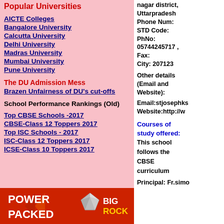Popular Universities
AICTE Colleges
Bangalore University
Calcutta University
Delhi University
Madras University
Mumbai University
Pune University
The DU Admission Mess
Brazen Unfairness of DU's cut-offs
School Performance Rankings (Old)
Top CBSE Schools -2017
CBSE-Class 12 Toppers 2017
Top ISC Schools - 2017
ISC-Class 12 Toppers 2017
ICSE-Class 10 Toppers 2017
[Figure (illustration): BigRock power packed banner advertisement with red background]
nagar district, Uttarpradesh Phone Num: STD Code: PhNo: 05744245717 , Fax: City: 207123
Other details (Email and Website):
Email:stjosephks Website:http://w
Courses of study offered: This school follows the CBSE curriculum
Principal: Fr.simo